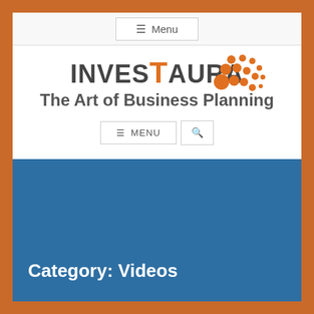≡  Menu
[Figure (logo): InvestAura logo with orange dot cluster pattern and text 'INVESTAURA The Art of Business Planning']
Category: Videos